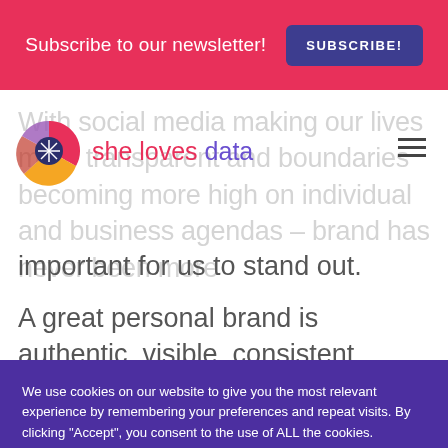Subscribe to our newsletter! SUBSCRIBE!
[Figure (logo): She Loves Data logo with colorful fan/pie icon and brand name text in pink and purple]
With social media making our lives more transparent and boundaries becoming more high on individual and business agendas – brand has never been more important for us to stand out.
A great personal brand is authentic, visible, consistent, reliable and resilient – in person, on
We use cookies on our website to give you the most relevant experience by remembering your preferences and repeat visits. By clicking "Accept", you consent to the use of ALL the cookies.
Cookie settings  ACCEPT